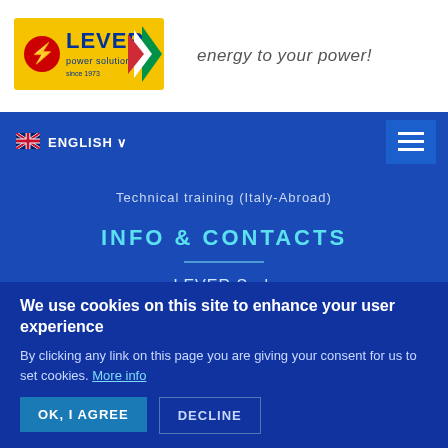[Figure (logo): LEVER power solutions logo with lightning bolt and Italian flag zigzag design]
energy to your power!
ENGLISH
Technical training (Italy-Abroad)
INFO & CONTACTS
LEVER S.r.l.
Viale del Lavoro, 17
37024 Negrar (VR)
Italy
We use cookies on this site to enhance your user experience
By clicking any link on this page you are giving your consent for us to set cookies. More info
OK, I AGREE
DECLINE